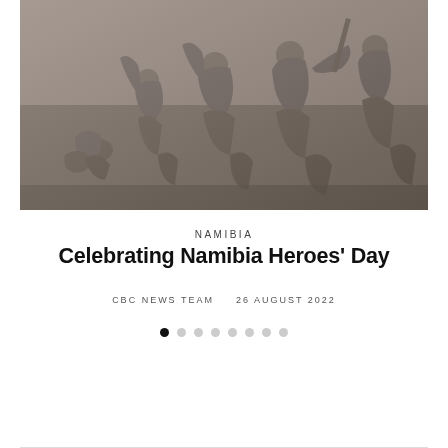[Figure (photo): Stone relief sculpture showing a group of marching and struggling figures, soldiers and civilians in dynamic poses, carved in grey stone — appears to be a war memorial or heroes monument]
NAMIBIA
Celebrating Namibia Heroes' Day
CBC NEWS TEAM    26 AUGUST 2022